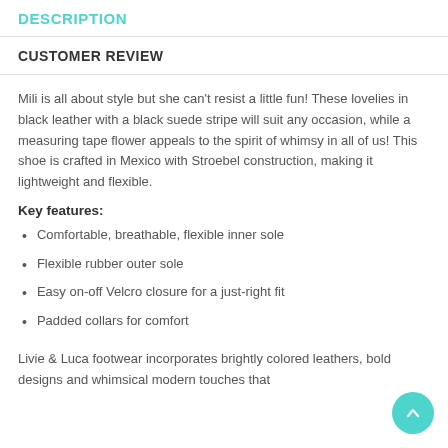DESCRIPTION
CUSTOMER REVIEW
Mili is all about style but she can't resist a little fun! These lovelies in black leather with a black suede stripe will suit any occasion, while a measuring tape flower appeals to the spirit of whimsy in all of us! This shoe is crafted in Mexico with Stroebel construction, making it lightweight and flexible.
Key features:
Comfortable, breathable, flexible inner sole
Flexible rubber outer sole
Easy on-off Velcro closure for a just-right fit
Padded collars for comfort
Livie & Luca footwear incorporates brightly colored leathers, bold designs and whimsical modern touches that